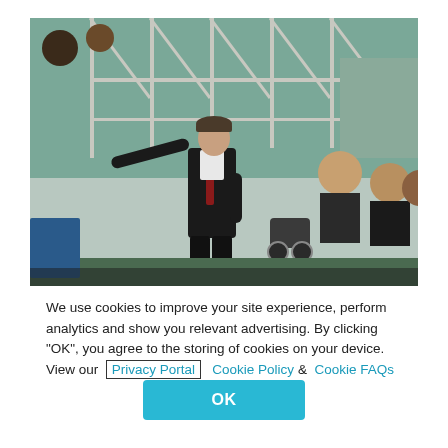[Figure (photo): A man in a dark suit, cap, and tie stands on a sports field sideline with arm outstretched pointing, with spectators and stadium seating in the background.]
We use cookies to improve your site experience, perform analytics and show you relevant advertising. By clicking "OK", you agree to the storing of cookies on your device. View our Privacy Portal  Cookie Policy &  Cookie FAQs